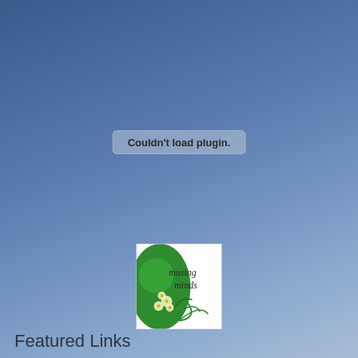[Figure (screenshot): Blue gradient background with a browser plugin error message reading "Couldn't load plugin." in a rounded rectangle badge, and a 'musing minds' decorative logo image with green leaves and flowers below.]
Featured Links